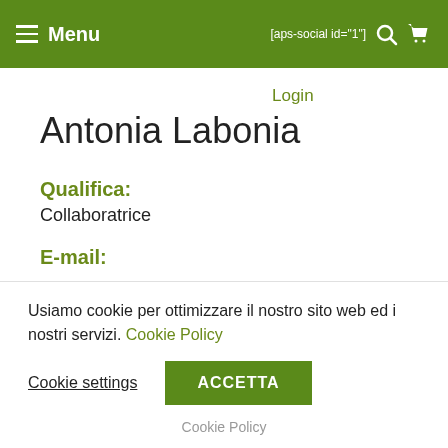≡ Menu   [aps-social id="1"]  🔍  🛒
Login
Antonia Labonia
Qualifica:
Collaboratrice
E-mail:
Usiamo cookie per ottimizzare il nostro sito web ed i nostri servizi. Cookie Policy
Cookie settings
ACCETTA
Cookie Policy